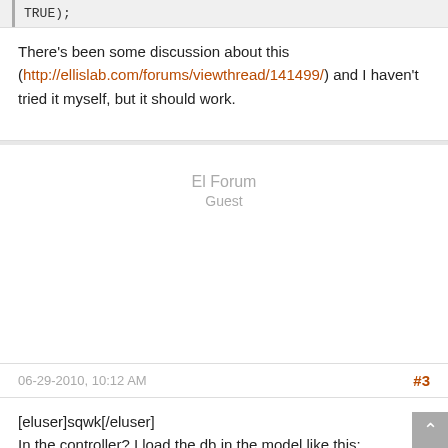TRUE);
There's been some discussion about this (http://ellislab.com/forums/viewthread/141499/) and I haven't tried it myself, but it should work.
El Forum
Guest
06-29-2010, 10:12 AM
#3
[eluser]sqwk[/eluser]
In the controller? I load the db in the model like this: